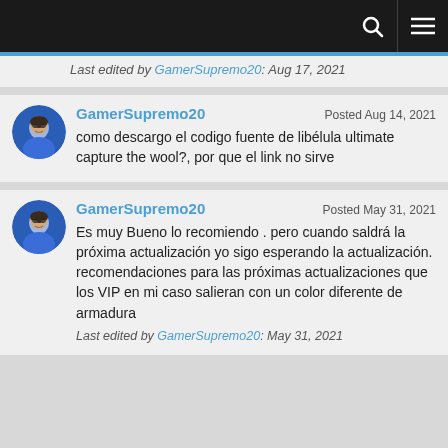Navigation bar with search and menu icons
Last edited by GamerSupremo20: Aug 17, 2021
GamerSupremo20 Posted Aug 14, 2021
como descargo el codigo fuente de libélula ultimate capture the wool?, por que el link no sirve
GamerSupremo20 Posted May 31, 2021
Es muy Bueno lo recomiendo . pero cuando saldrá la próxima actualización yo sigo esperando la actualización. recomendaciones para las próximas actualizaciones que los VIP en mi caso salieran con un color diferente de armadura
Last edited by GamerSupremo20: May 31, 2021